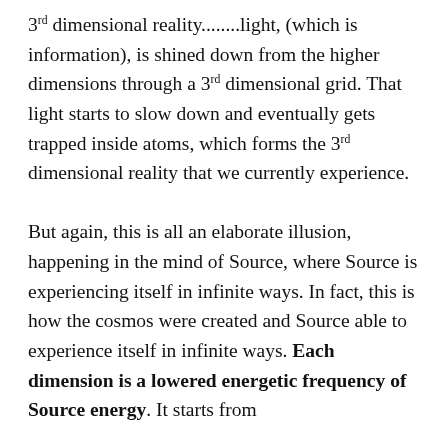3rd dimensional reality........light, (which is information), is shined down from the higher dimensions through a 3rd dimensional grid. That light starts to slow down and eventually gets trapped inside atoms, which forms the 3rd dimensional reality that we currently experience.

But again, this is all an elaborate illusion, happening in the mind of Source, where Source is experiencing itself in infinite ways. In fact, this is how the cosmos were created and Source able to experience itself in infinite ways. Each dimension is a lowered energetic frequency of Source energy. It starts from